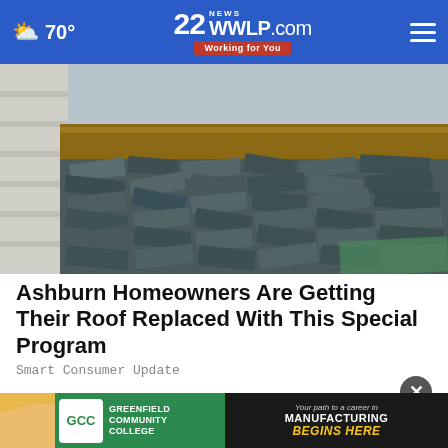70° | 22WWLP.com Working for You
[Figure (photo): Close-up of damaged, curling roof shingles on a wooden roof structure]
Ashburn Homeowners Are Getting Their Roof Replaced With This Special Program
Smart Consumer Update
[Figure (photo): Close-up of hands holding yellow foam or insulation material, with a circular close button overlay]
[Figure (infographic): Greenfield Community College advertisement banner: GCC logo on green background, text 'GREENFIELD COMMUNITY COLLEGE', right side shows 'Your path to a career in MANUFACTURING BEGINS HERE' with worker image]